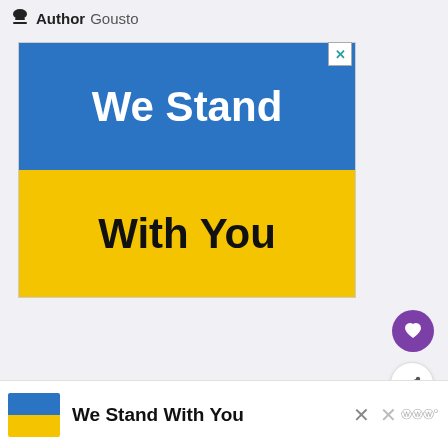Author Gousto
[Figure (illustration): Rectangle banner split into two halves: top half is blue background with white bold text 'We Stand', bottom half is yellow background with black bold text 'With You'. A small close/X button is in the top-right corner.]
[Figure (other): Purple circular heart/like button]
[Figure (other): White circular share button with share icon]
WHAT'S NEXT → Simply Delicious...
[Figure (other): Bottom bar with mini Ukraine flag, text 'We Stand With You', close buttons and a small 'W' logo]